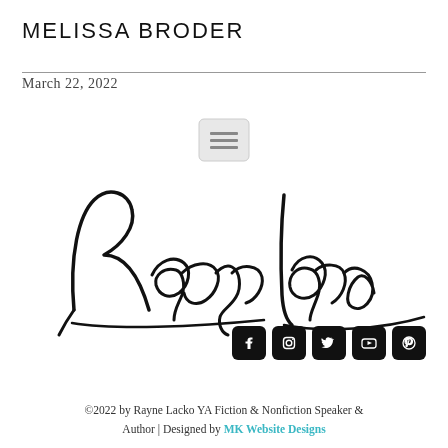MELISSA BRODER
March 22, 2022
[Figure (illustration): Hamburger/menu icon with three horizontal lines inside a rounded rectangle]
[Figure (illustration): Handwritten signature logo reading 'Rayne Lacko' in large cursive script]
[Figure (illustration): Row of five social media icon buttons (Facebook, Instagram, Twitter, YouTube, Pinterest) with white icons on black rounded square backgrounds]
©2022 by Rayne Lacko YA Fiction & Nonfiction Speaker & Author | Designed by MK Website Designs